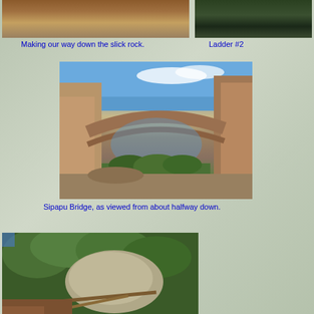[Figure (photo): Photo of slick rock terrain, desert landscape viewed from above]
[Figure (photo): Photo of Ladder #2 on the trail, dark rocky terrain]
Making our way down the slick rock.
Ladder #2
[Figure (photo): Sipapu Bridge as viewed from about halfway down, showing the natural stone arch with blue sky and green vegetation below]
Sipapu Bridge, as viewed from about halfway down.
[Figure (photo): Bottom of the canyon with green trees and rocky terrain]